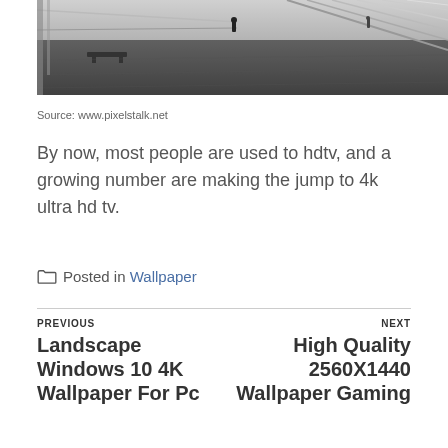[Figure (photo): Black and white photograph of a stadium or architectural walkway with a lone figure walking in the distance, benches visible on the left, diagonal structural elements on the right]
Source: www.pixelstalk.net
By now, most people are used to hdtv, and a growing number are making the jump to 4k ultra hd tv.
Posted in Wallpaper
PREVIOUS Landscape Windows 10 4K Wallpaper For Pc ... NEXT High Quality 2560X1440 Wallpaper Gaming ...